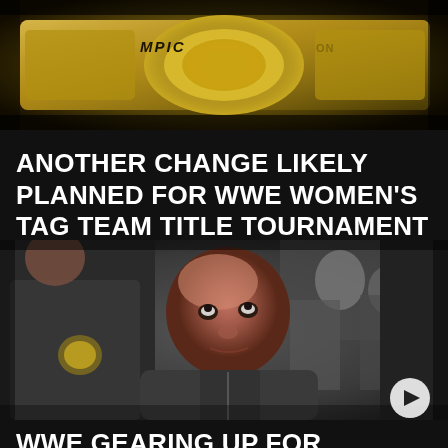[Figure (photo): Close-up photo of a golden WWE championship belt with decorative design and text partially visible]
ANOTHER CHANGE LIKELY PLANNED FOR WWE WOMEN'S TAG TEAM TITLE TOURNAMENT
[Figure (photo): A bald man in a dark hoodie looking upward, flanked by security personnel in dark uniforms at what appears to be a WWE event]
WWE GEARING UP FOR INTERESTING